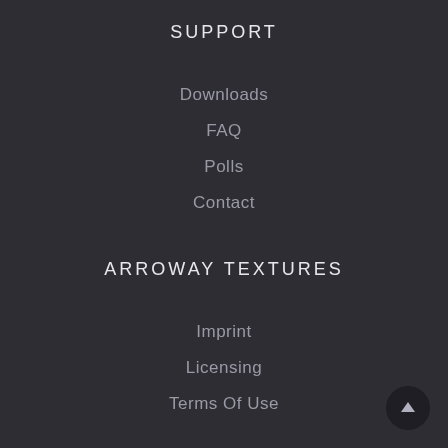SUPPORT
Downloads
FAQ
Polls
Contact
ARROWAY TEXTURES
Imprint
Licensing
Terms Of Use